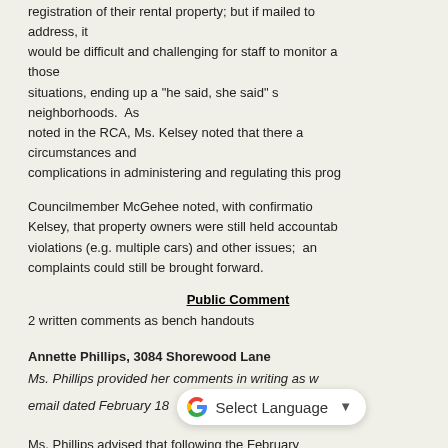registration of their rental property; but if mailed to address, it would be difficult and challenging for staff to monitor and those situations, ending up a "he said, she said" s neighborhoods. As noted in the RCA, Ms. Kelsey noted that there a circumstances and complications in administering and regulating this prog
Councilmember McGehee noted, with confirmatio Kelsey, that property owners were still held accountab violations (e.g. multiple cars) and other issues; an complaints could still be brought forward.
Public Comment
2 written comments as bench handouts
Annette Phillips, 3084 Shorewood Lane
Ms. Phillips provided her comments in writing as w email dated February 18
Ms. Phillips advised that following the February